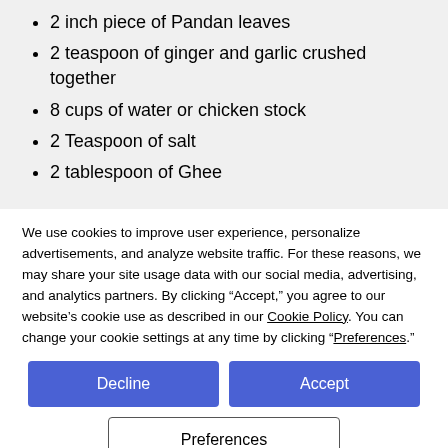2 inch piece of Pandan leaves
2 teaspoon of ginger and garlic crushed together
8 cups of water or chicken stock
2 Teaspoon of salt
2 tablespoon of Ghee
We use cookies to improve user experience, personalize advertisements, and analyze website traffic. For these reasons, we may share your site usage data with our social media, advertising, and analytics partners. By clicking “Accept,” you agree to our website’s cookie use as described in our Cookie Policy. You can change your cookie settings at any time by clicking “Preferences.”
Decline | Accept
Preferences